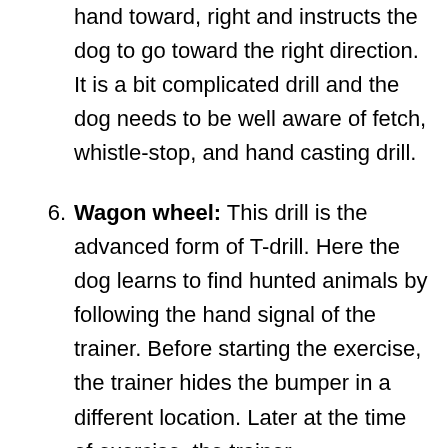hand toward, right and instructs the dog to go toward the right direction. It is a bit complicated drill and the dog needs to be well aware of fetch, whistle-stop, and hand casting drill.
Wagon wheel: This drill is the advanced form of T-drill. Here the dog learns to find hunted animals by following the hand signal of the trainer. Before starting the exercise, the trainer hides the bumper in a different location. Later at the time of exercise, the trainer